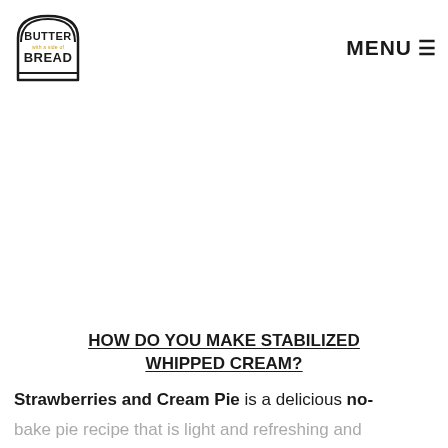[Figure (logo): Butter with a side of Bread logo — toast-shaped outline with text 'BUTTER with a side of BREAD' inside]
MENU ☰
HOW DO YOU MAKE STABILIZED WHIPPED CREAM?
Strawberries and Cream Pie is a delicious no-bake pie recipe that is light and refreshing and so easy to make! Sweet cream cheese filling is...